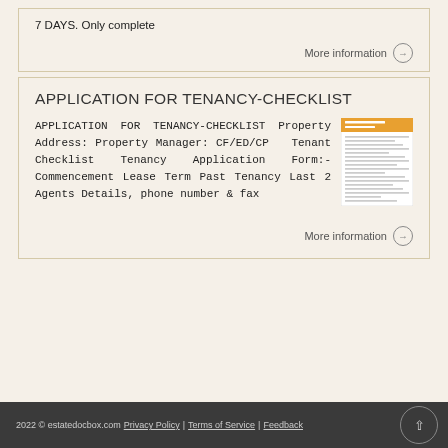7 DAYS. Only complete
More information
APPLICATION FOR TENANCY-CHECKLIST
APPLICATION FOR TENANCY-CHECKLIST Property Address: Property Manager: CF/ED/CP Tenant Checklist Tenancy Application Form:- Commencement Lease Term Past Tenancy Last 2 Agents Details, phone number & fax
[Figure (screenshot): Thumbnail image of a checklist document form with orange header]
More information
2022 © estatedocbox.com Privacy Policy | Terms of Service | Feedback